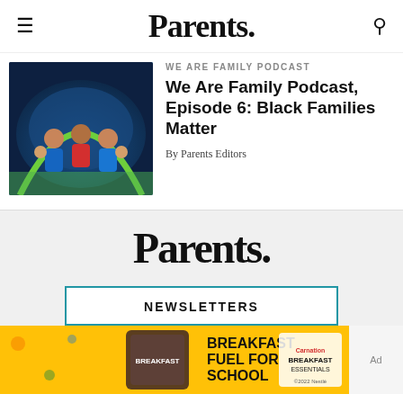Parents.
[Figure (photo): Family of adults and children inside a blue camping tent, smiling at the camera at night]
WE ARE FAMILY PODCAST
We Are Family Podcast, Episode 6: Black Families Matter
By Parents Editors
[Figure (logo): Parents. magazine logo in large serif black font on light gray background]
NEWSLETTERS
[Figure (photo): Breakfast Fuel For School advertisement banner with yellow background and Carnation Breakfast Essentials product]